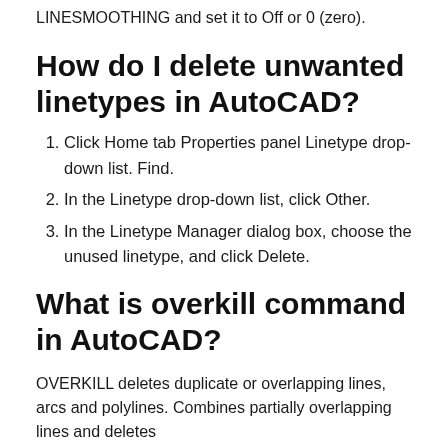LINESMOOTHING and set it to Off or 0 (zero).
How do I delete unwanted linetypes in AutoCAD?
Click Home tab Properties panel Linetype drop-down list. Find.
In the Linetype drop-down list, click Other.
In the Linetype Manager dialog box, choose the unused linetype, and click Delete.
What is overkill command in AutoCAD?
OVERKILL deletes duplicate or overlapping lines, arcs and polylines. Combines partially overlapping lines and deletes